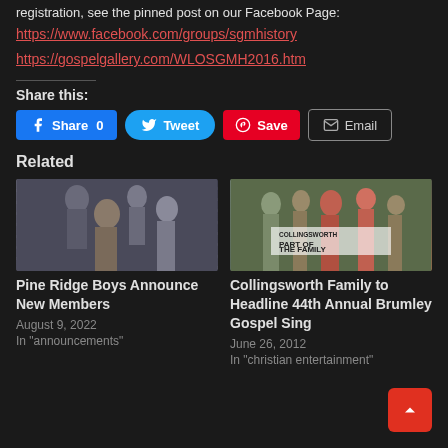registration, see the pinned post on our Facebook Page:
https://www.facebook.com/groups/sgmhistory
https://gospelgallery.com/WLOSGMH2016.htm
Share this:
Facebook Share 0 | Tweet | Save | Email
Related
[Figure (photo): Pine Ridge Boys group photo — men in suits at a podium/stage]
Pine Ridge Boys Announce New Members
August 9, 2022
In "announcements"
[Figure (photo): Collingsworth Family album cover — Part of the Family]
Collingsworth Family to Headline 44th Annual Brumley Gospel Sing
June 26, 2012
In "christian entertainment"